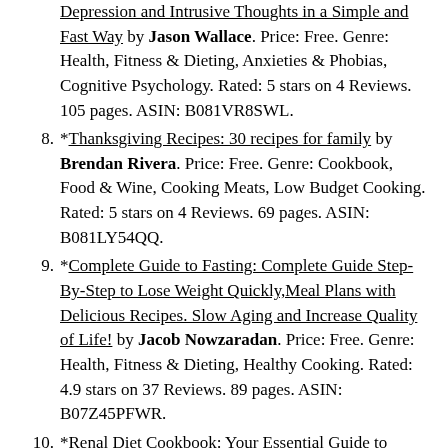Depression and Intrusive Thoughts in a Simple and Fast Way by Jason Wallace. Price: Free. Genre: Health, Fitness & Dieting, Anxieties & Phobias, Cognitive Psychology. Rated: 5 stars on 4 Reviews. 105 pages. ASIN: B081VR8SWL.
8. *Thanksgiving Recipes: 30 recipes for family by Brendan Rivera. Price: Free. Genre: Cookbook, Food & Wine, Cooking Meats, Low Budget Cooking. Rated: 5 stars on 4 Reviews. 69 pages. ASIN: B081LY54QQ.
9. *Complete Guide to Fasting: Complete Guide Step-By-Step to Lose Weight Quickly,Meal Plans with Delicious Recipes. Slow Aging and Increase Quality of Life! by Jacob Nowzaradan. Price: Free. Genre: Health, Fitness & Dieting, Healthy Cooking. Rated: 4.9 stars on 37 Reviews. 89 pages. ASIN: B07Z45PFWR.
10. *Renal Diet Cookbook: Your Essential Guide to Manage Kidney Disease (CKD) and Avoid Dialysis